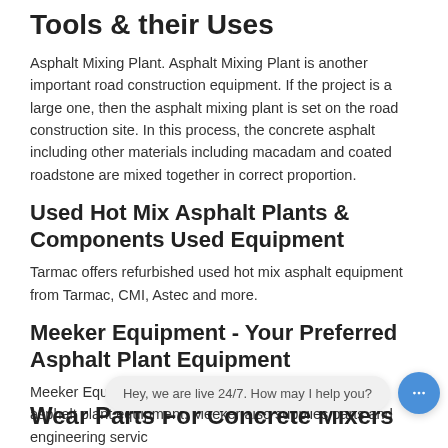Tools & their Uses
Asphalt Mixing Plant. Asphalt Mixing Plant is another important road construction equipment. If the project is a large one, then the asphalt mixing plant is set on the road construction site. In this process, the concrete asphalt including other materials including macadam and coated roadstone are mixed together in correct proportion.
Used Hot Mix Asphalt Plants & Components Used Equipment
Tarmac offers refurbished used hot mix asphalt equipment from Tarmac, CMI, Astec and more.
Meeker Equipment - Your Preferred Asphalt Plant Equipment
Meeker Equipment is a manufacturer and distributor of asphalt plant equipment. Meeker also supplies parts and engineering servic…
Wear Parts For Concrete Mixers